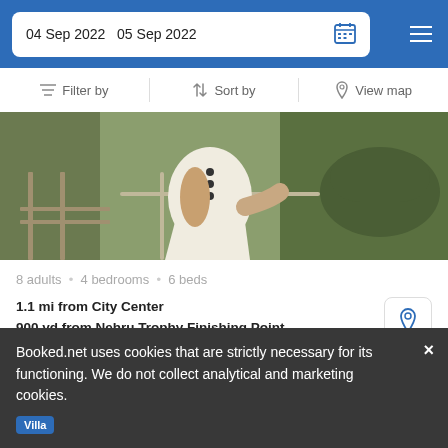04 Sep 2022  05 Sep 2022
Filter by  Sort by  View map
[Figure (photo): Photo of a person in white dress holding a railing on a boat/houseboat near water with green background]
8 adults • 4 bedrooms • 6 beds
1.1 mi from City Center
900 yd from Nehru Trophy Finishing Point
This business hotel with river views lies close to the sights of Alappuzha including Kerala Backwaters.
from  us$ 309/night  SELECT
Booked.net uses cookies that are strictly necessary for its functioning. We do not collect analytical and marketing cookies.